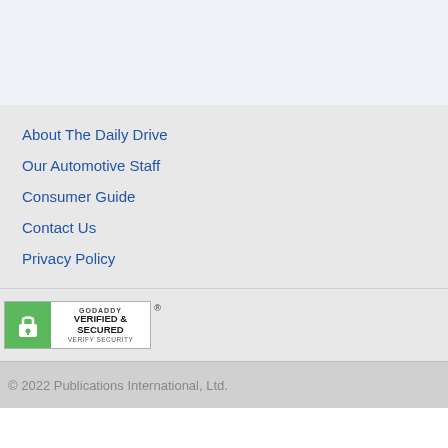About The Daily Drive
Our Automotive Staff
Consumer Guide
Contact Us
Privacy Policy
[Figure (logo): GoDaddy Verified & Secured badge with lock icon and 'Verify Security' text]
© 2022 Publications International, Ltd.